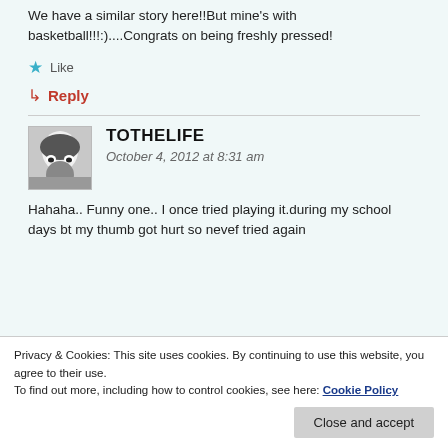We have a similar story here!!But mine's with basketball!!!:)....Congrats on being freshly pressed!
★ Like
↳ Reply
TOTHELIFE
October 4, 2012 at 8:31 am
Hahaha.. Funny one.. I once tried playing it.during my school days bt my thumb got hurt so nevef tried again
Privacy & Cookies: This site uses cookies. By continuing to use this website, you agree to their use.
To find out more, including how to control cookies, see here: Cookie Policy